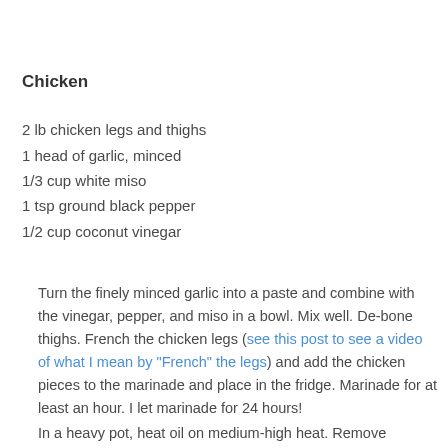Chicken
2 lb chicken legs and thighs
1 head of garlic, minced
1/3 cup white miso
1 tsp ground black pepper
1/2 cup coconut vinegar
Turn the finely minced garlic into a paste and combine with the vinegar, pepper, and miso in a bowl. Mix well. De-bone thighs. French the chicken legs (see this post to see a video of what I mean by "French" the legs) and add the chicken pieces to the marinade and place in the fridge. Marinade for at least an hour. I let marinade for 24 hours!
In a heavy pot, heat oil on medium-high heat. Remove